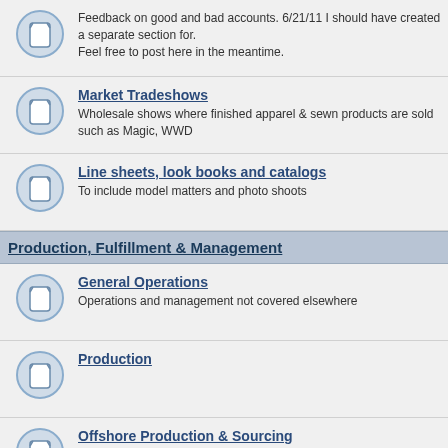Feedback on good and bad accounts. 6/21/11 I should have created a separate section for. Feel free to post here in the meantime.
Market Tradeshows - Wholesale shows where finished apparel & sewn products are sold such as Magic, WWD
Line sheets, look books and catalogs - To include model matters and photo shoots
Production, Fulfillment & Management
General Operations - Operations and management not covered elsewhere
Production
Offshore Production & Sourcing - Topics specifically related to offshore and importing
Lean Manufacturing - To include MTM (made to measure).
Packaging, Fulfillment & Shipping